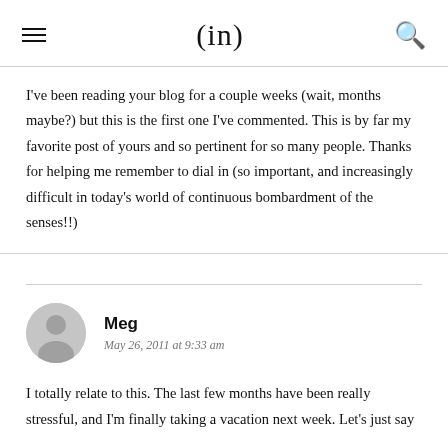(in)
I've been reading your blog for a couple weeks (wait, months maybe?) but this is the first one I've commented. This is by far my favorite post of yours and so pertinent for so many people. Thanks for helping me remember to dial in (so important, and increasingly difficult in today's world of continuous bombardment of the senses!!)
Meg
May 26, 2011 at 9:33 am
I totally relate to this. The last few months have been really stressful, and I'm finally taking a vacation next week. Let's just say